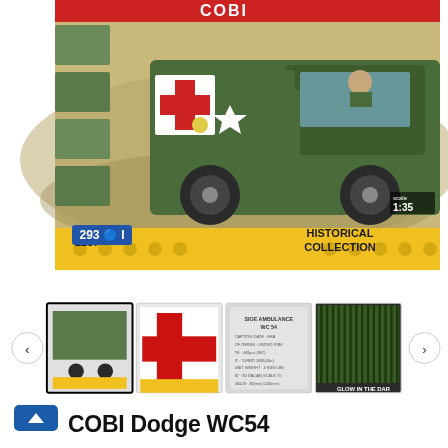[Figure (photo): COBI Historical Collection toy building block set box #2257, showing a military Dodge WC54 ambulance truck in olive green with white star and red cross, 293 pieces, scale 1:35, on a yellow Lego-style brick border background]
[Figure (photo): Thumbnail row with 4 product images: box photo selected, red cross door panel close-up, spec sheet text image, and dark grill detail with GLOW IN THE DARK label. Navigation arrows on each side.]
COBI Dodge WC54